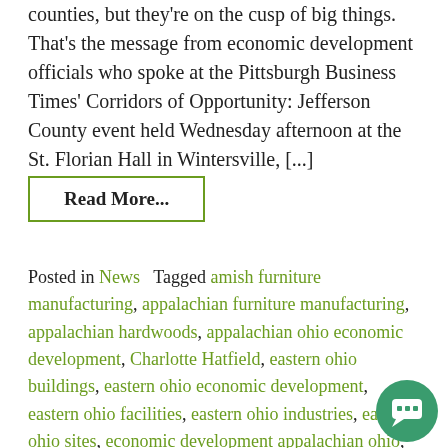counties, but they're on the cusp of big things. That's the message from economic development officials who spoke at the Pittsburgh Business Times' Corridors of Opportunity: Jefferson County event held Wednesday afternoon at the St. Florian Hall in Wintersville, [...]
Read More...
Posted in News   Tagged amish furniture manufacturing, appalachian furniture manufacturing, appalachian hardwoods, appalachian ohio economic development, Charlotte Hatfield, eastern ohio buildings, eastern ohio economic development, eastern ohio facilities, eastern ohio industries, eastern ohio sites, economic development appalachian ohio, handmade furniture ohio, key industries, ohio lumber products, ohio shale play, southeastern ohio economic development, southeastern ohio facilities, southeastern ohio industries, southeastern ohio sites, southern ohio buildings, southern ohio economic